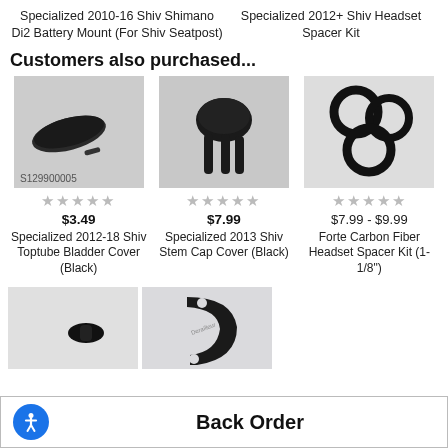Specialized 2010-16 Shiv Shimano Di2 Battery Mount (For Shiv Seatpost)
Specialized 2012+ Shiv Headset Spacer Kit
Customers also purchased...
[Figure (photo): Product photo of Specialized 2012-18 Shiv Toptube Bladder Cover (Black), SKU S129900005]
[Figure (photo): Product photo of Specialized 2013 Shiv Stem Cap Cover (Black)]
[Figure (photo): Product photo of Forte Carbon Fiber Headset Spacer Kit (1-1/8")]
★★★★★
$3.49
Specialized 2012-18 Shiv Toptube Bladder Cover (Black)
★★★★★
$7.99
Specialized 2013 Shiv Stem Cap Cover (Black)
★★★★★
$7.99 - $9.99
Forte Carbon Fiber Headset Spacer Kit (1-1/8")
[Figure (photo): Product photo of small black bicycle component]
[Figure (photo): Product photo of black metal derailleur hanger component]
Back Order